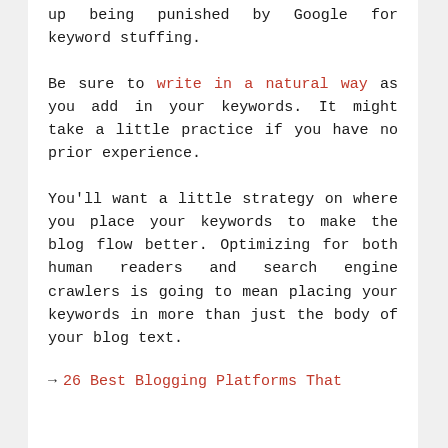up being punished by Google for keyword stuffing.
Be sure to write in a natural way as you add in your keywords. It might take a little practice if you have no prior experience.
You'll want a little strategy on where you place your keywords to make the blog flow better. Optimizing for both human readers and search engine crawlers is going to mean placing your keywords in more than just the body of your blog text.
→ 26 Best Blogging Platforms That